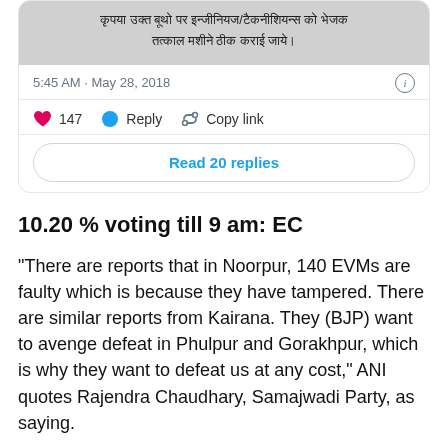[Figure (screenshot): Tweet card showing Hindi text about faulty EVMs, timestamp 5:45 AM May 28 2018, 147 likes, Reply and Copy link actions, and Read 20 replies button]
10.20 % voting till 9 am: EC
“There are reports that in Noorpur, 140 EVMs are faulty which is because they have tampered.  There are similar reports from Kairana. They (BJP) want to avenge defeat in Phulpur and Gorakhpur, which is why they want to defeat us at any cost,” ANI quotes Rajendra Chaudhary, Samajwadi Party, as saying.